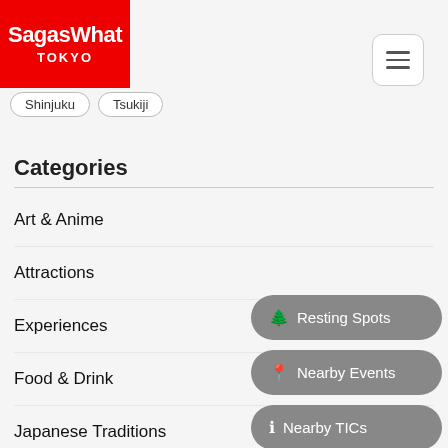SagasWhat TOKYO
Shinjuku
Tsukiji
Categories
Art & Anime
Attractions
Experiences
Food & Drink
Japanese Traditions
Local Culture
Sightseeing
Resting Spots
Nearby Events
Nearby TICs